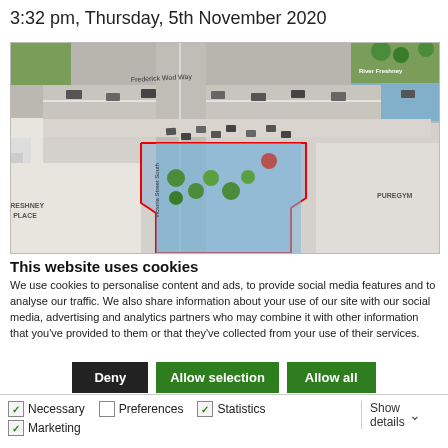3:32 pm, Thursday, 5th November 2020
[Figure (map): Aerial/plan view map showing a road intersection with 'Frederick Wod Way' and 'Victoria Street South', featuring 'Freshney Place' and 'PureGym' labels, cars, trees, and a red-outlined site boundary. 'River Freshney' visible top right.]
This website uses cookies
We use cookies to personalise content and ads, to provide social media features and to analyse our traffic. We also share information about your use of our site with our social media, advertising and analytics partners who may combine it with other information that you've provided to them or that they've collected from your use of their services.
Deny | Allow selection | Allow all
Necessary  Preferences  Statistics  Marketing  Show details